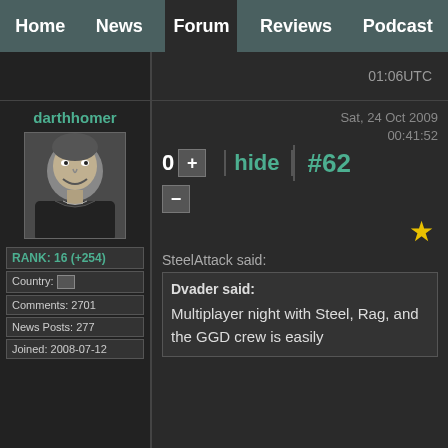Home | News | Forum | Reviews | Podcast
01:06UTC
darthhomer
[Figure (illustration): Avatar illustration of a person, black and white sketch style, dark background]
RANK: 16 (+254)
Country: [?]
Comments: 2701
News Posts: 277
Joined: 2008-07-12
Sat, 24 Oct 2009
00:41:52
0  +  |  hide  |  #62
★
SteelAttack said:
Dvader said:

Multiplayer night with Steel, Rag, and the GGD crew is easily